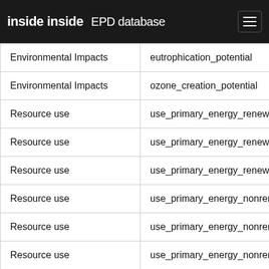inside inside EPD database
| Category | Parameter |
| --- | --- |
| Environmental Impacts | eutrophication_potential |
| Environmental Impacts | ozone_creation_potential |
| Resource use | use_primary_energy_renewable_n... |
| Resource use | use_primary_energy_renewable_r... |
| Resource use | use_primary_energy_renewable_to... |
| Resource use | use_primary_energy_nonrenewable... |
| Resource use | use_primary_energy_nonrenewable... |
| Resource use | use_primary_energy_nonrenewable... |
| Resource use | use_secondary_material |
| Resource use | use_of_renewable_secondary... |